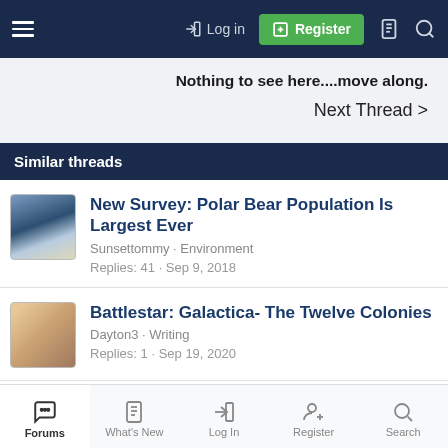Log in  Register
Nothing to see here....move along.
Next Thread >
Similar threads
New Survey: Polar Bear Population Is Largest Ever
Sunsettommy · Environment
Replies: 41 · Sep 9, 2018
Battlestar: Galactica- The Twelve Colonies
Dayton3 · Writing
Replies: 1 · Sep 19, 2020
Forums  What's New  Log In  Register  Search